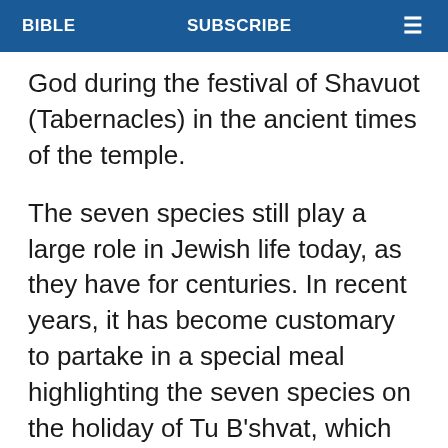BIBLE   SUBSCRIBE   ≡
God during the festival of Shavuot (Tabernacles) in the ancient times of the temple.
The seven species still play a large role in Jewish life today, as they have for centuries. In recent years, it has become customary to partake in a special meal highlighting the seven species on the holiday of Tu B'shvat, which celebrates the new year of the